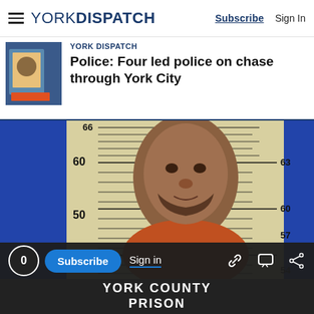YORK DISPATCH — Subscribe | Sign In
YORK DISPATCH
Police: Four led police on chase through York City
[Figure (photo): Mugshot of a man in an orange prison jumpsuit against a height chart background. The chart shows measurements at 40, 50, 60 on the left and 54, 57, 60, 63, 66 on the right. The bottom shows YORK COUNTY PRISON.]
0  Subscribe  Sign in  [link icon] [chat icon] [share icon]